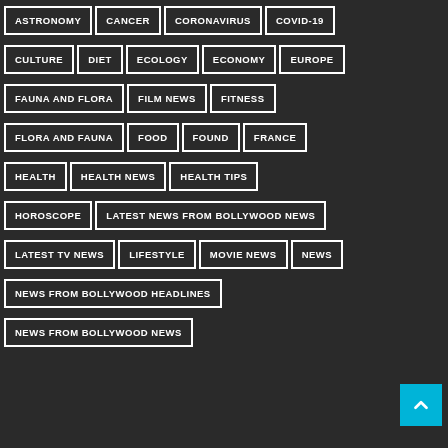ASTRONOMY
CANCER
CORONAVIRUS
COVID-19
CULTURE
DIET
ECOLOGY
ECONOMY
EUROPE
FAUNA AND FLORA
FILM NEWS
FITNESS
FLORA AND FAUNA
FOOD
FOUND
FRANCE
HEALTH
HEALTH NEWS
HEALTH TIPS
HOROSCOPE
LATEST NEWS FROM BOLLYWOOD NEWS
LATEST TV NEWS
LIFESTYLE
MOVIE NEWS
NEWS
NEWS FROM BOLLYWOOD HEADLINES
NEWS FROM BOLLYWOOD NEWS